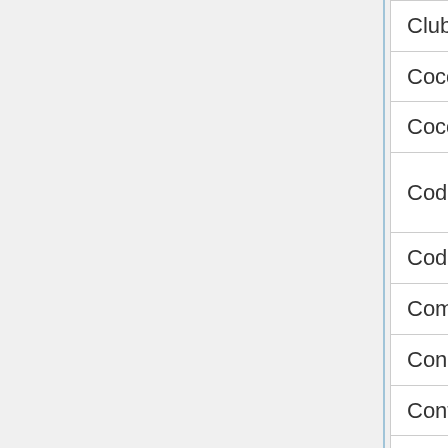| Series/Franchise | Game Title |
| --- | --- |
| Club Penguin | Puffle Launch |
| Cocoa Puffs | Cocoa Puffs Cros… |
| Cocoricó | Cocoricó: Siga o … |
| Codename: Kids Next Door | Codename: Kids Next Door - Downhill D… |
| Code Lyoko | La mort des Freli… |
| Commander Keen | Dopefission |
| Conker | Conker's Etiquette Tip #1 |
| Contos de Mila | Em busca da prin… |
| Contra | Neo Contra Micro… |
| Contraptus | Taquin do Dr. Cor… |
| Cooking Mama | Gardening Mama |
| Copa Jetix | A Lavanderia Cop… |
| Corpse Bride | Maggot Maze |
| Counter Strike | Counter-Force |